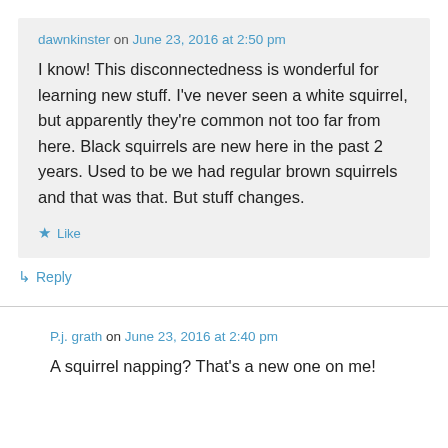dawnkinster on June 23, 2016 at 2:50 pm
I know! This disconnectedness is wonderful for learning new stuff. I've never seen a white squirrel, but apparently they're common not too far from here. Black squirrels are new here in the past 2 years. Used to be we had regular brown squirrels and that was that. But stuff changes.
★ Like
↳ Reply
P.j. grath on June 23, 2016 at 2:40 pm
A squirrel napping? That's a new one on me!